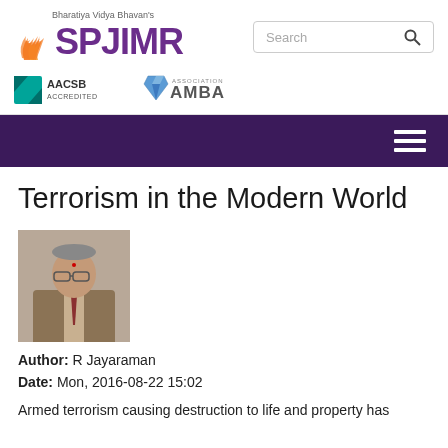[Figure (logo): Bharatiya Vidya Bhavan's SPJIMR logo with flame icon]
[Figure (other): AACSB Accredited and Association of MBAs (AMBA) accreditation logos]
Terrorism in the Modern World
[Figure (photo): Author photo of R Jayaraman, an older man in a brown suit seated]
Author: R Jayaraman
Date: Mon, 2016-08-22 15:02
Armed terrorism causing destruction to life and property has